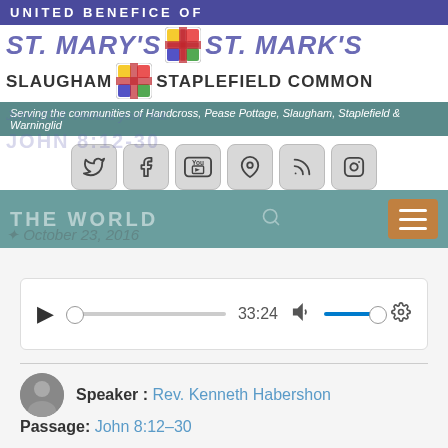UNITED BENEFICE OF
ST. MARY'S   ST. MARK'S
SLAUGHAM   STAPLEFIELD COMMON
Serving the communities of Handcross, Pease Pottage, Slaugham, Staplefield & Warninglid
[Figure (screenshot): Social media icon buttons: Twitter, Facebook, YouTube, Location pin, RSS feed, Instagram]
THE WORLD
[Figure (screenshot): Audio player showing 33:24 duration with play button, progress bar, volume control and settings gear icon]
Speaker : Rev. Kenneth Habershon
Passage: John 8:12–30